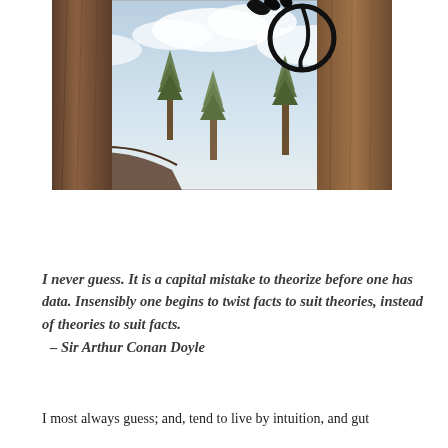[Figure (illustration): Digital illustration showing tall conifer/redwood trees in a prehistoric or fantastical forest scene with cloudy sky. A dark creature or object with curved claws/tendrils is visible at the top between the tree trunks.]
I never guess. It is a capital mistake to theorize before one has data. Insensibly one begins to twist facts to suit theories, instead of theories to suit facts.
 – Sir Arthur Conan Doyle
I most always guess; and, tend to live by intuition, and gut